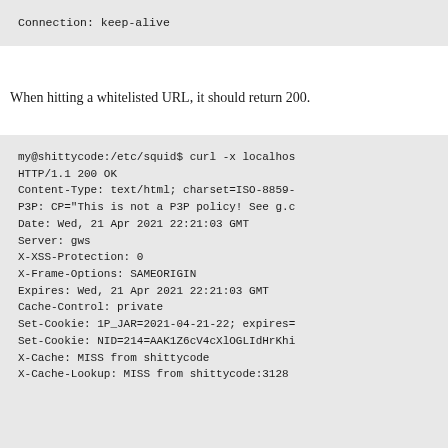[Figure (screenshot): Code block showing HTTP header with Connection: keep-alive]
When hitting a whitelisted URL, it should return 200.
[Figure (screenshot): Terminal output showing curl command and HTTP/1.1 200 OK response with headers including Content-Type, P3P, Date, Server, X-XSS-Protection, X-Frame-Options, Expires, Cache-Control, Set-Cookie, X-Cache, X-Cache-Lookup]